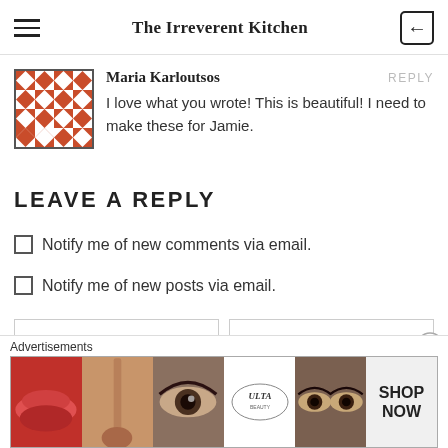The Irreverent Kitchen
Maria Karloutsos
REPLY
I love what you wrote! This is beautiful! I need to make these for Jamie.
LEAVE A REPLY
☐ Notify me of new comments via email.
☐ Notify me of new posts via email.
[Figure (infographic): Advertisement banner showing Ulta beauty products with images of lips, makeup brush, eye, Ulta logo, eyes, and SHOP NOW text]
Advertisements